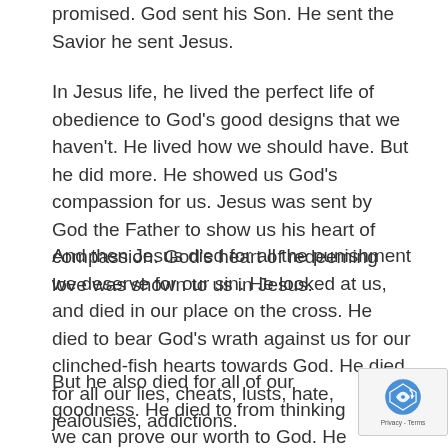promised. God sent his Son. He sent the Savior he sent Jesus.
In Jesus life, he lived the perfect life of obedience to God's good designs that we haven't. He lived how we should have. But he did more. He showed us God's compassion for us. Jesus was sent by God the Father to show us his heart of compassion. God's heart of redeeming love was shown to us in Jesus.
And then Jesus died for all the punishment we deserve for our sin. He looked at us, and died in our place on the cross. He died to bear God's wrath against us for our clinched-fish hearts towards God. He died for all our lies, cheats, lusts, hate, jealousies, addictions.
But he also died for all of our goodness. He died to free us from thinking we can prove our worth to God. He died to free us from our badness and our goodness. Jesus died to free us from this mess and to realise that we could be...